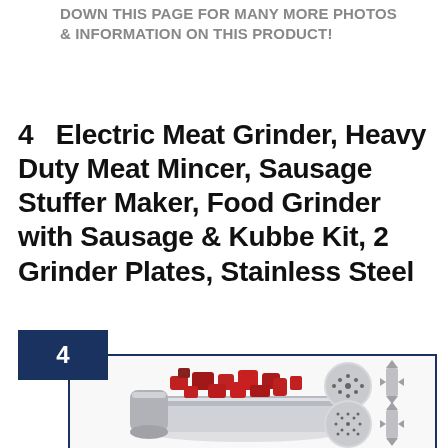DOWN THIS PAGE FOR MANY MORE PHOTOS & INFORMATION ON THIS PRODUCT!
4   Electric Meat Grinder, Heavy Duty Meat Mincer, Sausage Stuffer Maker, Food Grinder with Sausage & Kubbe Kit, 2 Grinder Plates, Stainless Steel
[Figure (photo): Product photo showing electric meat grinder with stainless steel tray containing ground meat chunks, accompanied by grinder plate discs and blade attachments. Badge with number 4 in dark navy blue is shown in upper-left corner of the image frame.]